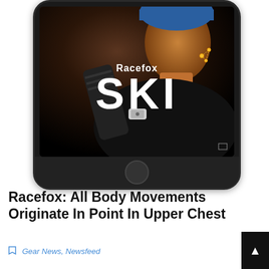[Figure (screenshot): Smartphone displaying the Racefox SKI app screen. The screen shows a person skiing with the app name 'Racefox' and large text 'SKI' overlaid on a dark background with motion capture dot indicators.]
Racefox: All Body Movements Originate In Point In Upper Chest
Gear News, Newsfeed